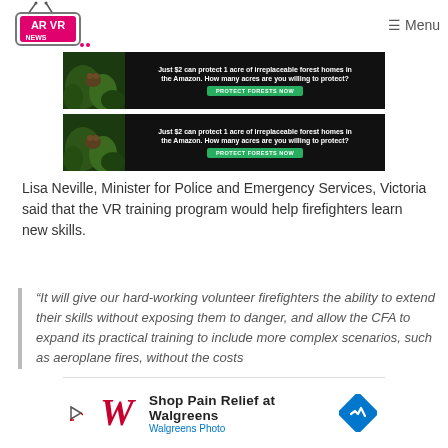AR VR NEWS — Menu
[Figure (photo): Amazon forest advertisement banner 1: Just $2 can protect 1 acre of irreplaceable forest homes in the Amazon. How many acres are you willing to protect? PROTECT FORESTS NOW]
[Figure (photo): Amazon forest advertisement banner 2: Just $2 can protect 1 acre of irreplaceable forest homes in the Amazon. How many acres are you willing to protect? PROTECT FORESTS NOW]
Lisa Neville, Minister for Police and Emergency Services, Victoria said that the VR training program would help firefighters learn new skills.
“It will give our hard-working volunteer firefighters the ability to extend their skills without exposing them to danger, and allow the CFA to expand its practical training to include more complex scenarios, such as aeroplane fires, without the costs
[Figure (photo): Walgreens advertisement: Shop Pain Relief at Walgreens — Walgreens Photo]